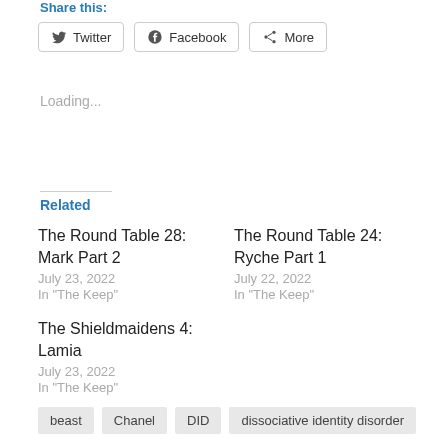Share this:
Twitter  Facebook  More
Loading...
Related
The Round Table 28: Mark Part 2
July 23, 2022
In "The Keep"
The Round Table 24: Ryche Part 1
July 22, 2022
In "The Keep"
The Shieldmaidens 4: Lamia
July 23, 2022
In "The Keep"
beast
Chanel
DID
dissociative identity disorder